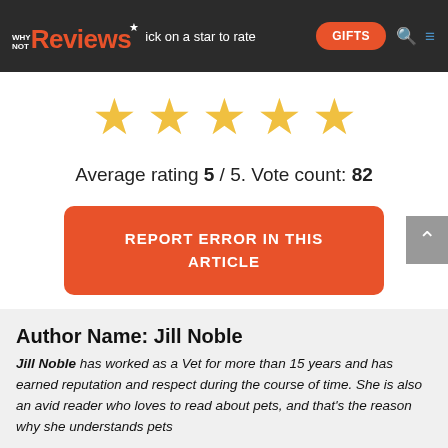WHY NOT Reviews — Click on a star to rate — GIFTS
[Figure (other): Five gold star rating icons displayed in a row]
Average rating 5 / 5. Vote count: 82
REPORT ERROR IN THIS ARTICLE
Author Name: Jill Noble
Jill Noble has worked as a Vet for more than 15 years and has earned reputation and respect during the course of time. She is also an avid reader who loves to read about pets, and that's the reason why she understands pets...